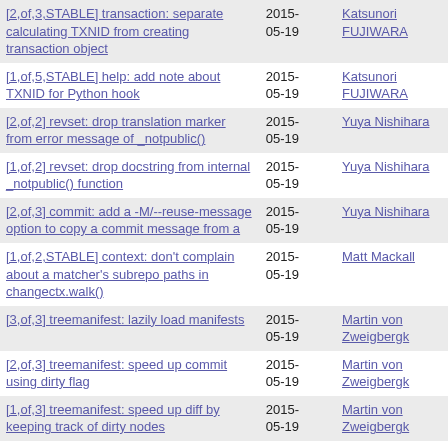| Subject | Date | Author |
| --- | --- | --- |
| [2,of,3,STABLE] transaction: separate calculating TXNID from creating transaction object | 2015-05-19 | Katsunori FUJIWARA |
| [1,of,5,STABLE] help: add note about TXNID for Python hook | 2015-05-19 | Katsunori FUJIWARA |
| [2,of,2] revset: drop translation marker from error message of _notpublic() | 2015-05-19 | Yuya Nishihara |
| [1,of,2] revset: drop docstring from internal _notpublic() function | 2015-05-19 | Yuya Nishihara |
| [2,of,3] commit: add a -M/--reuse-message option to copy a commit message from a | 2015-05-19 | Yuya Nishihara |
| [1,of,2,STABLE] context: don't complain about a matcher's subrepo paths in changectx.walk() | 2015-05-19 | Matt Mackall |
| [3,of,3] treemanifest: lazily load manifests | 2015-05-19 | Martin von Zweigbergk |
| [2,of,3] treemanifest: speed up commit using dirty flag | 2015-05-19 | Martin von Zweigbergk |
| [1,of,3] treemanifest: speed up diff by keeping track of dirty nodes | 2015-05-19 | Martin von Zweigbergk |
| [2,of,2,evolve-ext] tests: adapt to summary with phases output | 2015-05-19 | Matt Harbison |
| [1,of,2,evolve-ext] evolve: rename util.any -> any | 2015-05-19 | Matt Harbison |
| [STABLE] ssh: capture output with bundle2 again (issue4642) | 2015-05-19 | Pierre-Yves David |
| [2,of,2,STABLE] match: explicitly | 2015- |  |